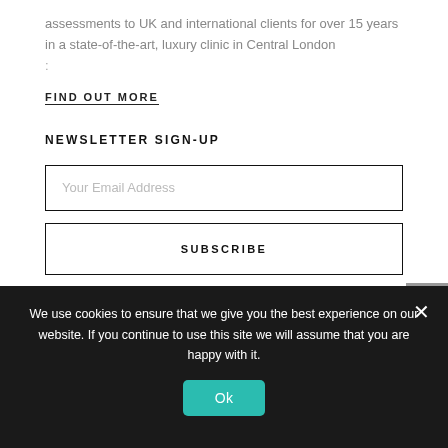assessments to UK and international clients for over 15 years in a state-of-the-art, luxury clinic in Central London
:
FIND OUT MORE
NEWSLETTER SIGN-UP
Your Email Address
SUBSCRIBE
We use cookies to ensure that we give you the best experience on our website. If you continue to use this site we will assume that you are happy with it.
Ok